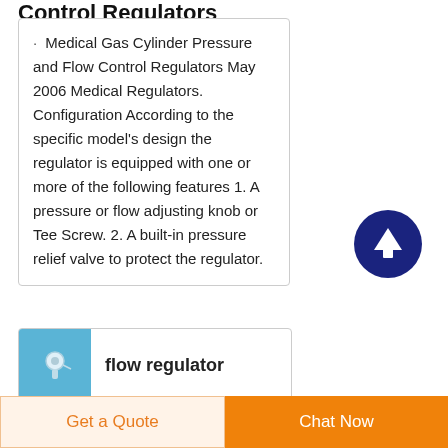Control Regulators
Medical Gas Cylinder Pressure and Flow Control Regulators May 2006 Medical Regulators. Configuration According to the specific model's design the regulator is equipped with one or more of the following features 1. A pressure or flow adjusting knob or Tee Screw. 2. A built-in pressure relief valve to protect the regulator.
[Figure (other): Dark blue circular button with upward arrow icon (scroll to top button)]
[Figure (photo): Thumbnail image of a flow regulator device on blue background]
flow regulator
ArchivesMedical Brief
Get a Quote
Chat Now